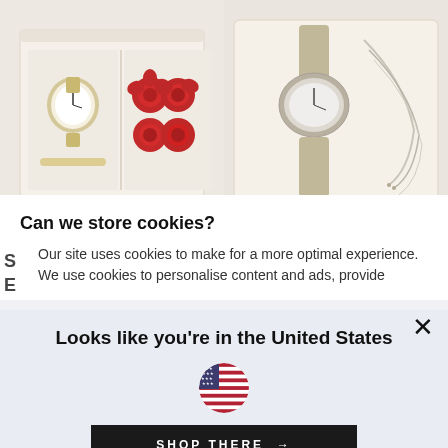[Figure (photo): Left product photo: a cream/beige gift box with a gold watch, bracelet, and red roses inside]
[Figure (photo): Right product photo: a cream/beige jewelry box with a silver mesh watch and layered necklaces/bracelets]
Can we store cookies?
Our site uses cookies to make for a more optimal experience. We use cookies to personalise content and ads, provide
Looks like you're in the United States
[Figure (illustration): Circular US flag icon]
SHOP THERE →